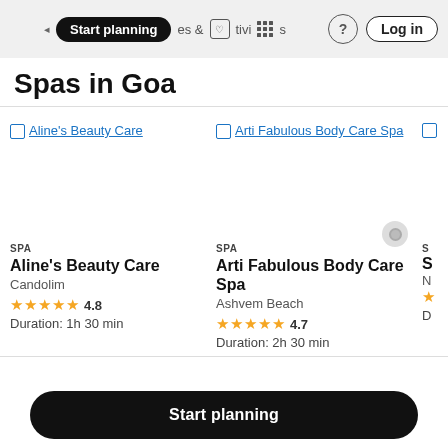Start planning & activities Log in
Spas in Goa
[Figure (screenshot): Card image placeholder for Aline's Beauty Care]
SPA
Aline's Beauty Care
Candolim
★★★★★ 4.8
Duration: 1h 30 min
[Figure (screenshot): Card image placeholder for Arti Fabulous Body Care Spa]
SPA
Arti Fabulous Body Care Spa
Ashvem Beach
★★★★★ 4.7
Duration: 2h 30 min
Start planning